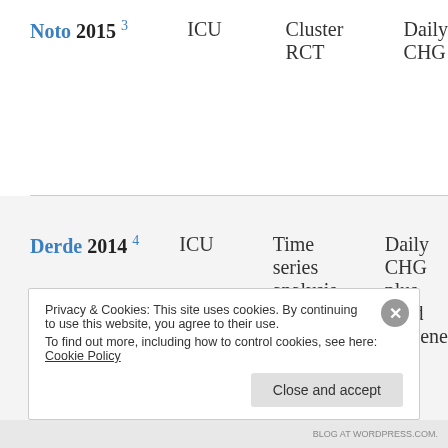| Author/Year | Setting | Study Design | Intervention |
| --- | --- | --- | --- |
| Noto 2015 3 | ICU | Cluster RCT | Daily CHG |
| Derde 2014 4 | ICU | Time series analysis | Daily CHG plus hand hygiene |
Privacy & Cookies: This site uses cookies. By continuing to use this website, you agree to their use. To find out more, including how to control cookies, see here: Cookie Policy
Close and accept